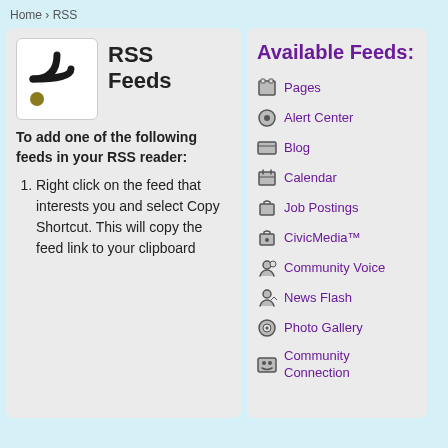Home › RSS
RSS Feeds
To add one of the following feeds in your RSS reader:
Right click on the feed that interests you and select Copy Shortcut. This will copy the feed link to your clipboard.
Available Feeds:
Pages
Alert Center
Blog
Calendar
Job Postings
CivicMedia™
Community Voice
News Flash
Photo Gallery
Community Connection